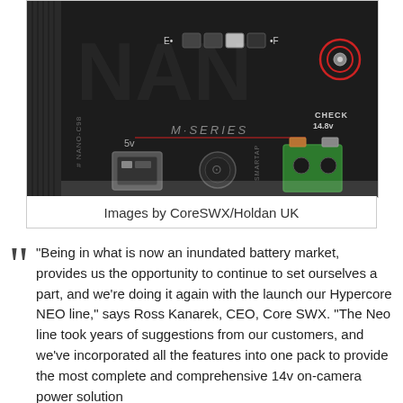[Figure (photo): Close-up photo of a CoreSWX NANO-C98 M-Series battery device showing USB port (5v), SmartTap connector, CHECK 14.8v indicator, E-F battery level LEDs, and a green power connector on a dark background.]
Images by CoreSWX/Holdan UK
“Being in what is now an inundated battery market, provides us the opportunity to continue to set ourselves a part, and we’re doing it again with the launch our Hypercore NEO line,” says Ross Kanarek, CEO, Core SWX. “The Neo line took years of suggestions from our customers, and we’ve incorporated all the features into one pack to provide the most complete and comprehensive 14v on-camera power solution